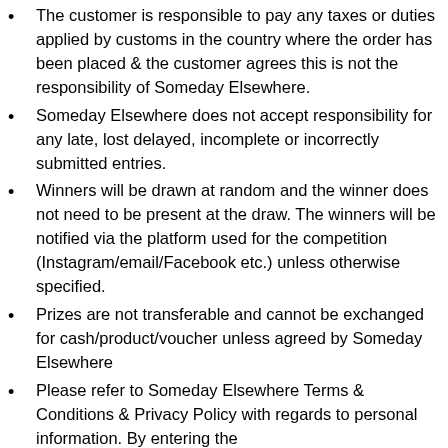The customer is responsible to pay any taxes or duties applied by customs in the country where the order has been placed & the customer agrees this is not the responsibility of Someday Elsewhere.
Someday Elsewhere does not accept responsibility for any late, lost delayed, incomplete or incorrectly submitted entries.
Winners will be drawn at random and the winner does not need to be present at the draw. The winners will be notified via the platform used for the competition (Instagram/email/Facebook etc.) unless otherwise specified.
Prizes are not transferable and cannot be exchanged for cash/product/voucher unless agreed by Someday Elsewhere
Please refer to Someday Elsewhere Terms & Conditions & Privacy Policy with regards to personal information. By entering the promotion/giveaway/competition the entrant agrees to provide the required contact information.
By entering the promotion/giveaway/competition, the entrant agrees that the promotion/giveaway/competition is in no way sponsored or endorsed by Facebook or Instagram and release